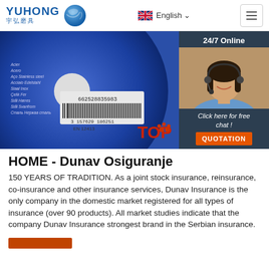YUHONG 宇弘磨具 | English | hamburger menu
[Figure (photo): Close-up of a blue abrasive cutting disc with barcode (662528835983 / 3 157629 186251), EN 12413 certification mark, and safety symbols. Overlaid with a 24/7 Online chat widget featuring a female customer service agent wearing a headset, a 'Click here for free chat!' text and an orange QUOTATION button.]
HOME - Dunav Osiguranje
150 YEARS OF TRADITION. As a joint stock insurance, reinsurance, co-insurance and other insurance services, Dunav Insurance is the only company in the domestic market registered for all types of insurance (over 90 products). All market studies indicate that the company Dunav Insurance strongest brand in the Serbian insurance.